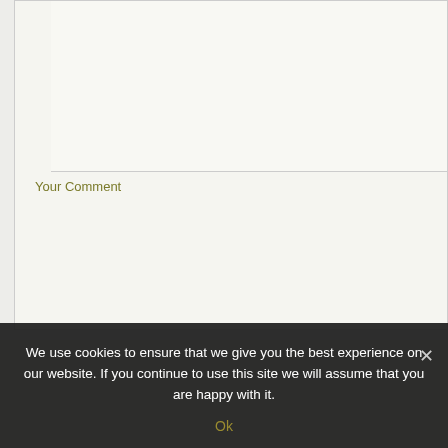Your Comment
Submit Comment
We use cookies to ensure that we give you the best experience on our website. If you continue to use this site we will assume that you are happy with it.
Ok